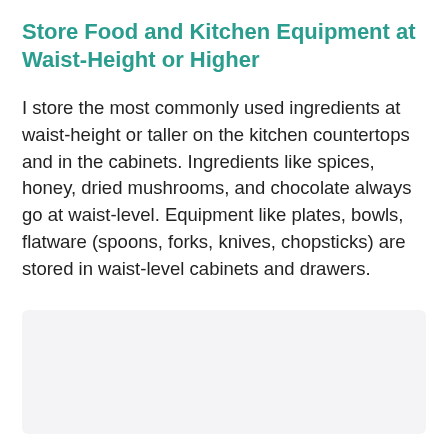Store Food and Kitchen Equipment at Waist-Height or Higher
I store the most commonly used ingredients at waist-height or taller on the kitchen countertops and in the cabinets. Ingredients like spices, honey, dried mushrooms, and chocolate always go at waist-level. Equipment like plates, bowls, flatware (spoons, forks, knives, chopsticks) are stored in waist-level cabinets and drawers.
[Figure (photo): Image placeholder area at the bottom of the page]